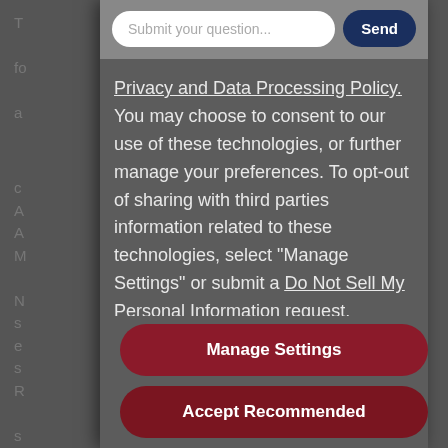[Figure (screenshot): A modal/overlay UI panel for privacy consent on a website. Contains an input bar at top with a 'Submit your question...' text field and a 'Send' button, followed by privacy policy text with links, and two action buttons: 'Manage Settings' and 'Accept Recommended'.]
Privacy and Data Processing Policy. You may choose to consent to our use of these technologies, or further manage your preferences. To opt-out of sharing with third parties information related to these technologies, select "Manage Settings" or submit a Do Not Sell My Personal Information request.